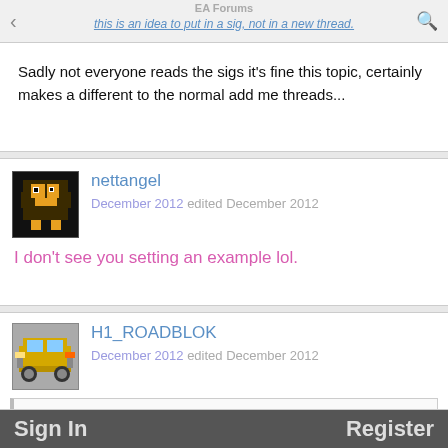EA Forums | this is an idea to put in a sig, not in a new thread.
Sadly not everyone reads the sigs it's fine this topic, certainly makes a different to the normal add me threads...
nettangel — December 2012 edited December 2012
I don't see you setting an example lol.
H1_ROADBLOK — December 2012 edited December 2012
battyguy wrote: Ok. With all the 100000000s of messages, why doesnt anyone use ..colors on their messages(blah, text color black) Big s...
Sign In | Register